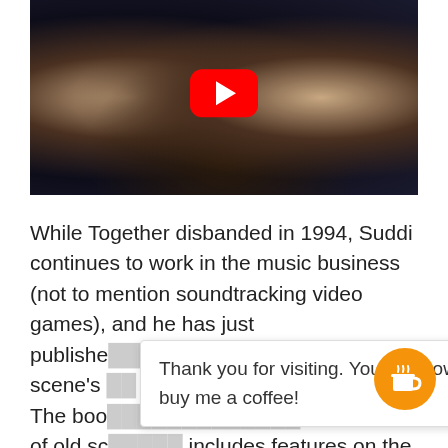[Figure (screenshot): YouTube video thumbnail showing a dark image with two figures visible at sides and a YouTube play button (red rounded rectangle with white triangle) centered at the top]
While Together disbanded in 1994, Suddi continues to work in the music business (not to mention soundtracking video games), and he has just published [a delightful history of the acid] house scene's [history in a book called] Acid House. The boo[k ... includes features on] all [sorts] of old sc[hoolers and] includes features on the late
Thank you for visiting. You can now buy me a coffee!